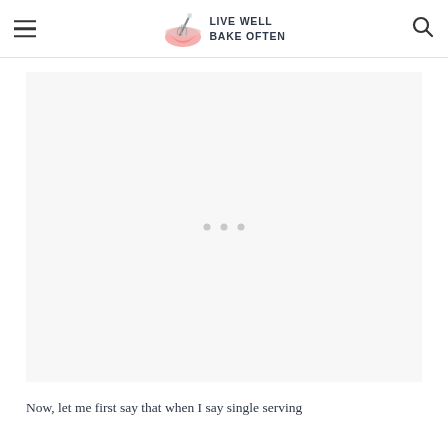LIVE WELL BAKE OFTEN
[Figure (other): Large light gray advertisement placeholder rectangle with three small dots in the center]
Now, let me first say that when I say single serving